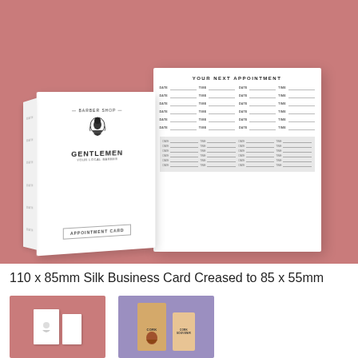[Figure (photo): Product mockup showing a folded appointment card for 'Gentlemen Barber Shop' displayed on a pink/rose background. The left folded card shows the front with a bearded man logo and 'GENTLEMEN' branding plus 'APPOINTMENT CARD' label. The right open card shows 'YOUR NEXT APPOINTMENT' with date/time fields in a two-column grid layout. The bottom portion shows inner pages with appointment rows.]
110 x 85mm Silk Business Card Creased to 85 x 55mm
[Figure (photo): Thumbnail image on pink background showing smaller version of appointment card mockup]
[Figure (photo): Thumbnail image on purple/lavender background showing kraft paper bag/packaging mockup with 'CORK' branding]